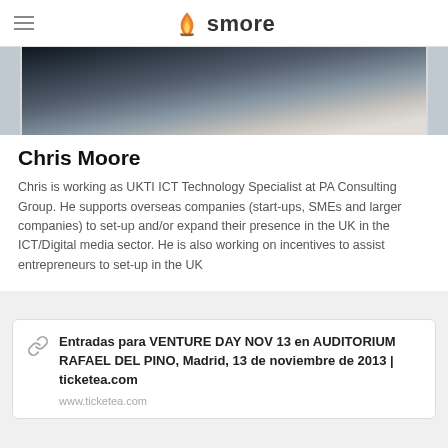smore
[Figure (photo): Partial photo of a man in a white shirt and tie, cropped at the neck/chest area, with dark background at top]
Chris Moore
Chris is working as UKTI ICT Technology Specialist at PA Consulting Group. He supports overseas companies (start-ups, SMEs and larger companies) to set-up and/or expand their presence in the UK in the ICT/Digital media sector. He is also working on incentives to assist entrepreneurs to set-up in the UK
Entradas para VENTURE DAY NOV 13 en AUDITORIUM RAFAEL DEL PINO, Madrid, 13 de noviembre de 2013 | ticketea.com
www.ticketea.com